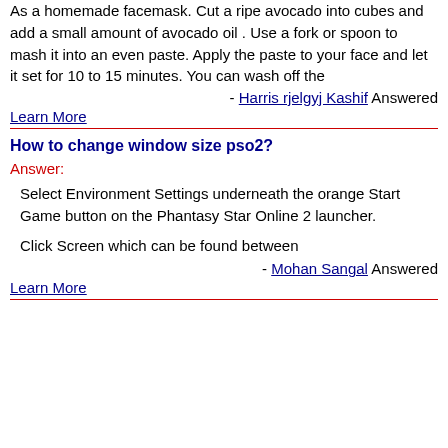As a homemade facemask. Cut a ripe avocado into cubes and add a small amount of avocado oil . Use a fork or spoon to mash it into an even paste. Apply the paste to your face and let it set for 10 to 15 minutes. You can wash off the
- Harris rjelgyj Kashif Answered
Learn More
How to change window size pso2?
Answer:
Select Environment Settings underneath the orange Start Game button on the Phantasy Star Online 2 launcher.
Click Screen which can be found between
- Mohan Sangal Answered
Learn More